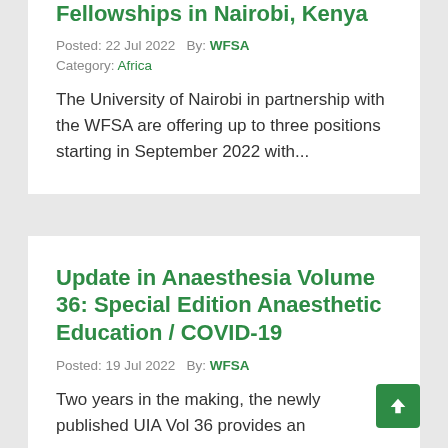Fellowships in Nairobi, Kenya
Posted: 22 Jul 2022   By: WFSA
Category: Africa
The University of Nairobi in partnership with the WFSA are offering up to three positions starting in September 2022 with...
Update in Anaesthesia Volume 36: Special Edition Anaesthetic Education / COVID-19
Posted: 19 Jul 2022   By: WFSA
Two years in the making, the newly published UIA Vol 36 provides an